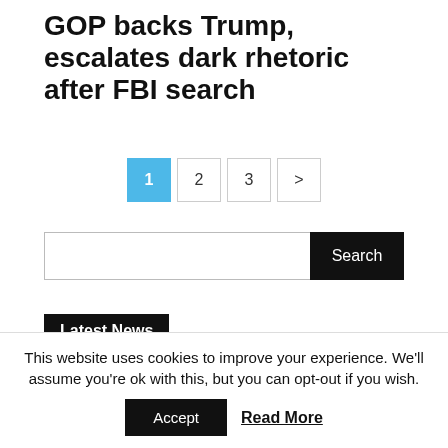GOP backs Trump, escalates dark rhetoric after FBI search
Pagination: 1 (active), 2, 3, >
Search bar with Search button
Latest News
New study suggests covid increases risks of brain disorders
This website uses cookies to improve your experience. We'll assume you're ok with this, but you can opt-out if you wish.
Accept   Read More